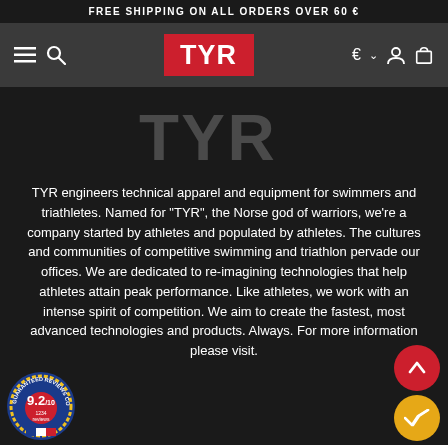FREE SHIPPING ON ALL ORDERS OVER 60 €
[Figure (logo): TYR brand navigation bar with hamburger menu, search icon, TYR red logo, currency selector, account and cart icons]
[Figure (logo): Large TYR watermark logo in dark gray on black background]
TYR engineers technical apparel and equipment for swimmers and triathletes. Named for "TYR", the Norse god of warriors, we're a company started by athletes and populated by athletes. The cultures and communities of competitive swimming and triathlon pervade our offices. We are dedicated to re-imagining technologies that help athletes attain peak performance. Like athletes, we work with an intense spirit of competition. We aim to create the fastest, most advanced technologies and products. Always. For more information please visit.